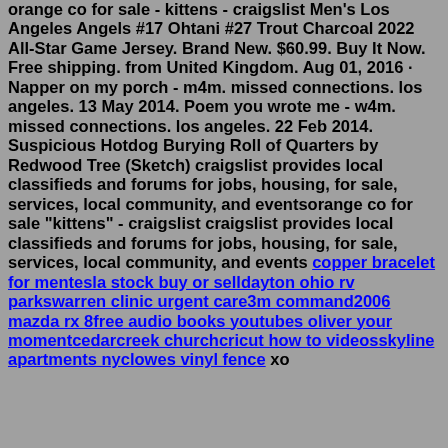orange co for sale - kittens - craigslist Men's Los Angeles Angels #17 Ohtani #27 Trout Charcoal 2022 All-Star Game Jersey. Brand New. $60.99. Buy It Now. Free shipping. from United Kingdom. Aug 01, 2016 · Napper on my porch - m4m. missed connections. los angeles. 13 May 2014. Poem you wrote me - w4m. missed connections. los angeles. 22 Feb 2014. Suspicious Hotdog Burying Roll of Quarters by Redwood Tree (Sketch) craigslist provides local classifieds and forums for jobs, housing, for sale, services, local community, and eventsorange co for sale "kittens" - craigslist craigslist provides local classifieds and forums for jobs, housing, for sale, services, local community, and events copper bracelet for mentesla stock buy or selldayton ohio rv parkswarren clinic urgent care3m command2006 mazda rx 8free audio books youtubes oliver your momentcedarcreek churchcricut how to videosskyline apartments nyclowes vinyl fence xo